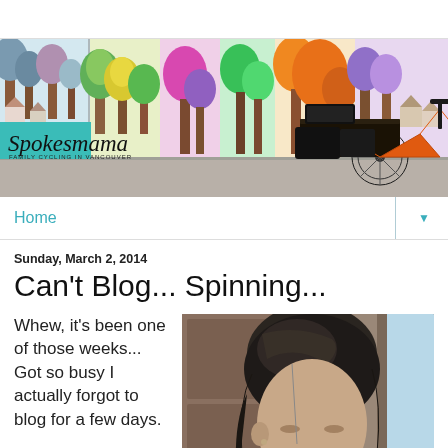[Figure (photo): Blog header banner showing a colorful painted mural background with an orange cargo bike in front. Bottom-left has a teal/cyan panel with 'Spokesmama' script logo and 'Family Cycling in Vancouver' subtitle.]
Home
Sunday, March 2, 2014
Can't Blog... Spinning...
Whew, it's been one of those weeks... Got so busy I actually forgot to blog for a few days.
[Figure (photo): Close-up photo of a person's face and hair, looking down or to the side, indoor setting with window light]